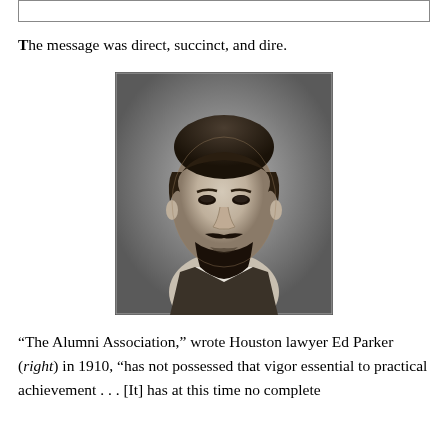The message was direct, succinct, and dire.
[Figure (photo): Black and white portrait photograph of Houston lawyer Ed Parker, a man with dark hair and a beard wearing a suit and tie, circa 1910.]
“The Alumni Association,” wrote Houston lawyer Ed Parker (right) in 1910, “has not possessed that vigor essential to practical achievement . . . [It] has at this time no complete